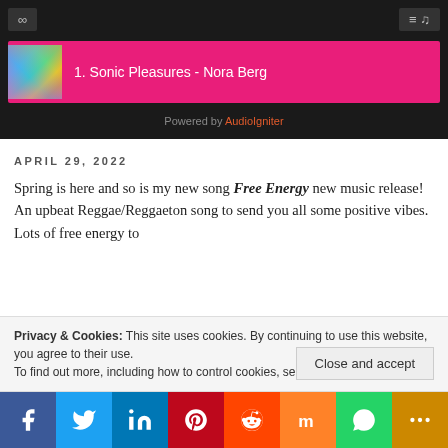[Figure (screenshot): Audio player widget with dark background showing a track: '1. Sonic Pleasures - Nora Berg' highlighted in pink/magenta. Top bar has loop and playlist buttons. Bottom shows 'Powered by AudioIgniter'.]
APRIL 29, 2022
Spring is here and so is my new song Free Energy new music release!  An upbeat Reggae/Reggaeton song to send you all some positive vibes.  Lots of free energy to
Privacy & Cookies: This site uses cookies. By continuing to use this website, you agree to their use.
To find out more, including how to control cookies, see here: Cookie Policy
Close and accept